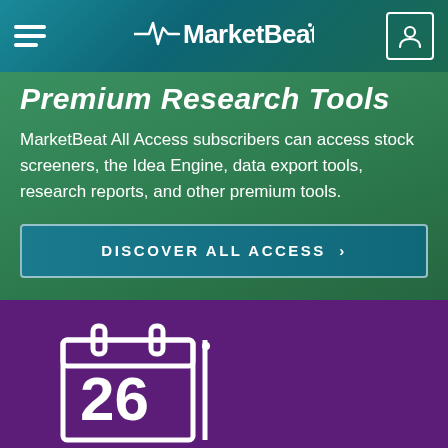MarketBeat
Premium Research Tools
MarketBeat All Access subscribers can access stock screeners, the Idea Engine, data export tools, research reports, and other premium tools.
DISCOVER ALL ACCESS >
[Figure (illustration): Calendar icon showing the number 26 on a purple background]
Market Data and Calendars